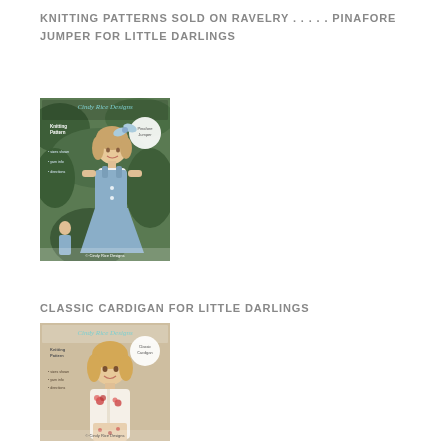KNITTING PATTERNS SOLD ON RAVELRY . . . . . PINAFORE JUMPER FOR LITTLE DARLINGS
[Figure (photo): Cover of Cindy Rice Designs knitting pattern booklet for Pinafore Jumper, showing a doll wearing a blue pinafore jumper in front of greenery]
CLASSIC CARDIGAN FOR LITTLE DARLINGS
[Figure (photo): Cover of Cindy Rice Designs knitting pattern booklet for Classic Cardigan, showing a doll wearing a cream cardigan with floral details]